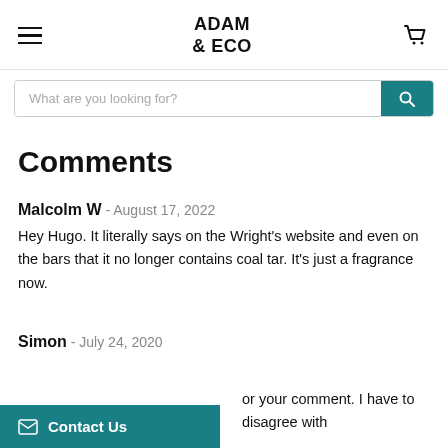ADAM & ECO
What are you looking for?
Comments
Malcolm W - August 17, 2022
Hey Hugo. It literally says on the Wright's website and even on the bars that it no longer contains coal tar. It's just a fragrance now.
Simon - July 24, 2020
or your comment. I have to disagree with